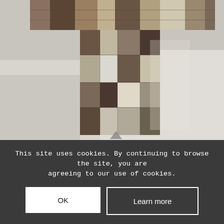[Figure (photo): A rustic reclaimed wood standing table (statafel) with a patchwork of weathered wooden planks in various shades of brown, grey, black, and white. The table has a thick rectangular top and a pedestal/column base, photographed on a light grey floor.]
Statafel “Woodz” 90 x 90 x 110 cm
€ 41,99 excl. BTW
This site uses cookies. By continuing to browse the site, you are agreeing to our use of cookies.
OK
Learn more